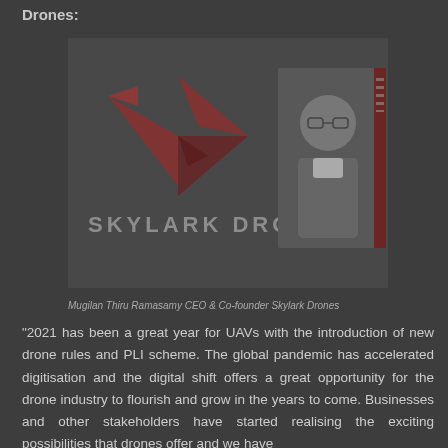Drones:
[Figure (photo): Skylark Drones company logo and branding image with bird/arrow logo in dark red, company name 'SKYLARK DRONES', and a headshot photo of a man wearing glasses against a light background with vertical accent bar]
Mugilan Thiru Ramasamy CEO & Co-founder Skylark Drones
"2021 has been a great year for UAVs with the introduction of new drone rules and PLI scheme. The global pandemic has accelerated digitisation and the digital shift offers a great opportunity for the drone industry to flourish and grow in the years to come. Businesses and other stakeholders have started realising the exciting possibilities that drones offer and we have